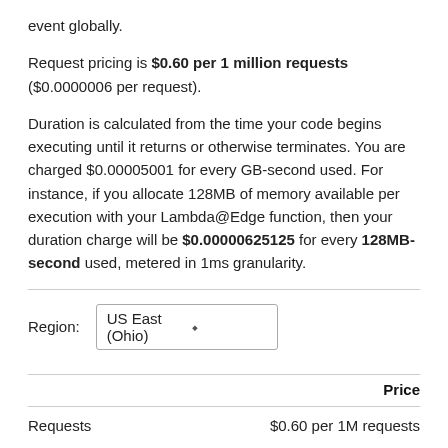event globally.
Request pricing is $0.60 per 1 million requests ($0.0000006 per request).
Duration is calculated from the time your code begins executing until it returns or otherwise terminates. You are charged $0.00005001 for every GB-second used. For instance, if you allocate 128MB of memory available per execution with your Lambda@Edge function, then your duration charge will be $0.00000625125 for every 128MB-second used, metered in 1ms granularity.
Region: US East (Ohio)
|  | Price |
| --- | --- |
| Requests | $0.60 per 1M requests |